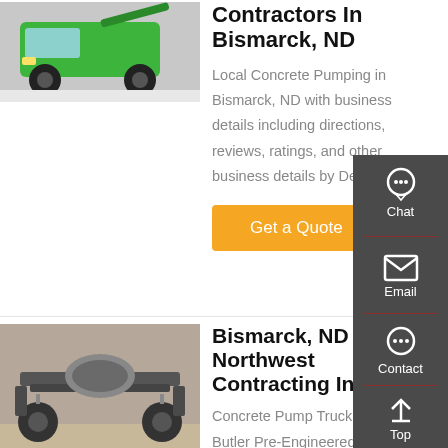[Figure (photo): Green concrete pump truck at a show]
Contractors In Bismarck, ND
Local Concrete Pumping in Bismarck, ND with business details including directions, reviews, ratings, and other business details by DexKnows.
Get a Quote
[Figure (photo): Underside/chassis view of a concrete pump truck]
Bismarck, ND - Northwest Contracting Inc.
Concrete Pump Truck Rentals, Butler Pre-Engineered building